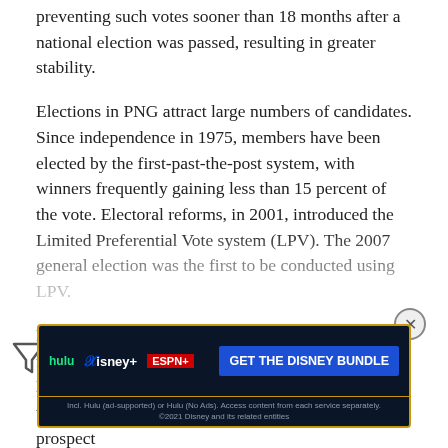resulting rule of the government of the day. Legislation preventing such votes sooner than 18 months after a national election was passed, resulting in greater stability.
Elections in PNG attract large numbers of candidates. Since independence in 1975, members have been elected by the first-past-the-post system, with winners frequently gaining less than 15 percent of the vote. Electoral reforms, in 2001, introduced the Limited Preferential Vote system (LPV). The 2007 general election was the first to be conducted using LPV.
Papua New Guinea was to be a unitary, as opposed to federal, state. However, a rebellion in the District of Bougainville, in 1975, occurred immediately before the granting of independence. This event raised the prospect of the richest area, whose Bougainville Copper Mine was the source departing and leaving impoverished. As a concession to the Bougainville
[Figure (other): Advertisement banner for Disney Bundle (Hulu, Disney+, ESPN+) with 'GET THE DISNEY BUNDLE' call to action on dark background with gold border.]